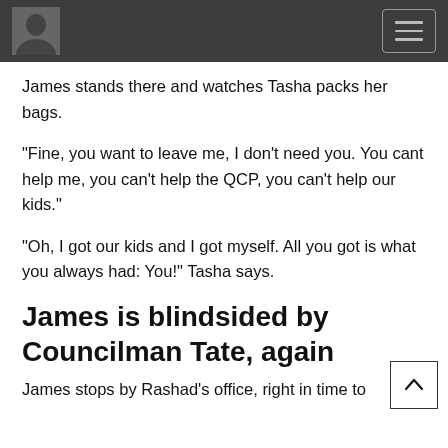James stands there and watches Tasha packs her bags.
"Fine, you want to leave me, I don't need you. You cant help me, you can't help the QCP, you can't help our kids."
"Oh, I got our kids and I got myself. All you got is what you always had: You!" Tasha says.
James is blindsided by Councilman Tate, again
James stops by Rashad's office, right in time to